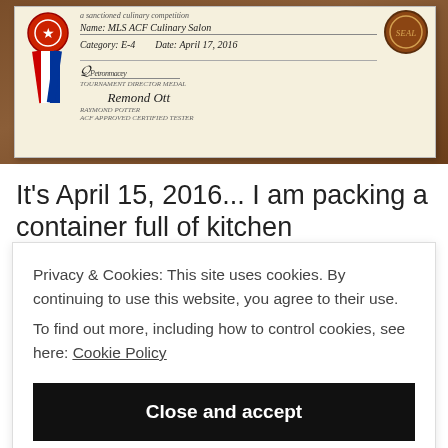[Figure (photo): Photo of a certificate/award document on a wooden surface. The certificate has a red/blue ribbon decoration on the left, a red wax seal at top right, and handwritten fields including name 'MLS ACF Culinary Salon', category 'E-4', date 'April 17, 2016', with two signatures at the bottom.]
It's April 15, 2016... I am packing a container full of kitchen equipment. As I check my list off, I am
Privacy & Cookies: This site uses cookies. By continuing to use this website, you agree to their use.
To find out more, including how to control cookies, see here: Cookie Policy
Close and accept
This was the first time testing my skills in this